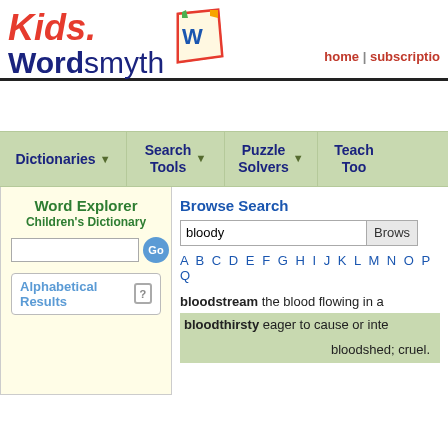Kids. Wordsmyth | home | subscription
Dictionaries | Search Tools | Puzzle Solvers | Teach Too
Word Explorer
Children's Dictionary
Browse Search
bloodstream the blood flowing in a
bloodthirsty eager to cause or inte
bloodshed; cruel.
Alphabetical Results
A B C D E F G H I J K L M N O P Q